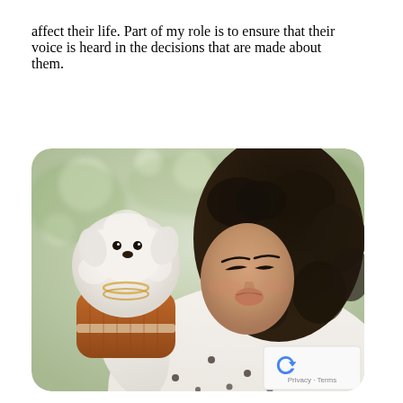affect their life. Part of my role is to ensure that their voice is heard in the decisions that are made about them.
[Figure (photo): A woman with curly dark hair holds a small white fluffy dog wearing an orange/brown knit sweater, appearing to kiss or nuzzle the dog. The woman wears a white polka dot sweater. Background is soft green bokeh foliage.]